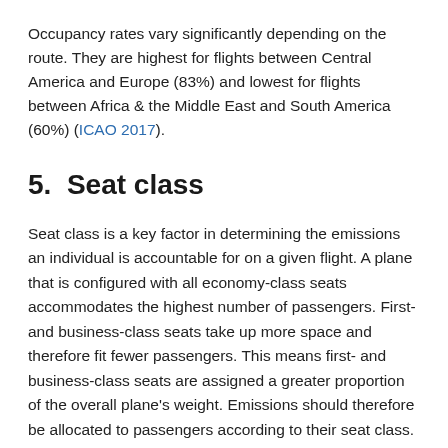Occupancy rates vary significantly depending on the route. They are highest for flights between Central America and Europe (83%) and lowest for flights between Africa & the Middle East and South America (60%) (ICAO 2017).
5.  Seat class
Seat class is a key factor in determining the emissions an individual is accountable for on a given flight. A plane that is configured with all economy-class seats accommodates the highest number of passengers. First- and business-class seats take up more space and therefore fit fewer passengers. This means first- and business-class seats are assigned a greater proportion of the overall plane's weight. Emissions should therefore be allocated to passengers according to their seat class. These cabin class weighting factors can be calculated for each aircraft type. A multiplier of about 1.5 for business class seats and of 2 to 3 for first-class should be